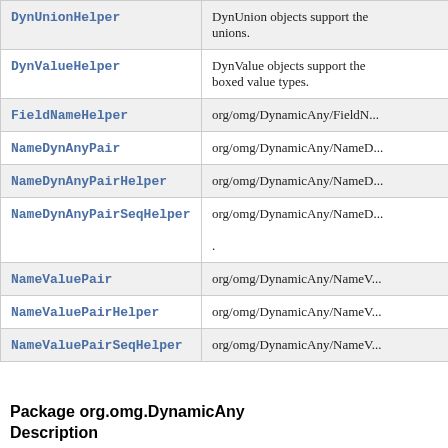| Class | Description |
| --- | --- |
| DynUnionHelper | DynUnion objects support the creation and manipulation of CDR unions. |
| DynValueHelper | DynValue objects support the creation and manipulation of boxed value types. |
| FieldNameHelper | org/omg/DynamicAny/FieldN... |
| NameDynAnyPair | org/omg/DynamicAny/NameD... |
| NameDynAnyPairHelper | org/omg/DynamicAny/NameD... |
| NameDynAnyPairSeqHelper | org/omg/DynamicAny/NameD...
. |
| NameValuePair | org/omg/DynamicAny/NameV... |
| NameValuePairHelper | org/omg/DynamicAny/NameV... |
| NameValuePairSeqHelper | org/omg/DynamicAny/NameV... |
Package org.omg.DynamicAny Description